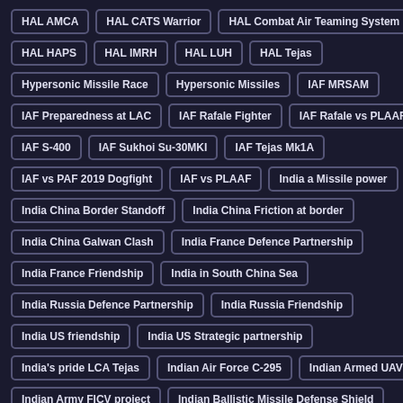HAL AMCA
HAL CATS Warrior
HAL Combat Air Teaming System
HAL HAPS
HAL IMRH
HAL LUH
HAL Tejas
Hypersonic Missile Race
Hypersonic Missiles
IAF MRSAM
IAF Preparedness at LAC
IAF Rafale Fighter
IAF Rafale vs PLAAF J-20
IAF S-400
IAF Sukhoi Su-30MKI
IAF Tejas Mk1A
IAF vs PAF 2019 Dogfight
IAF vs PLAAF
India a Missile power
India China Border Standoff
India China Friction at border
India China Galwan Clash
India France Defence Partnership
India France Friendship
India in South China Sea
India Russia Defence Partnership
India Russia Friendship
India US friendship
India US Strategic partnership
India's pride LCA Tejas
Indian Air Force C-295
Indian Armed UAVs
Indian Army FICV project
Indian Ballistic Missile Defense Shield
Indian Ballistic Missile Submarines SSBN
Indian Economy
Indian Missile Power
Indian Missile Tejas